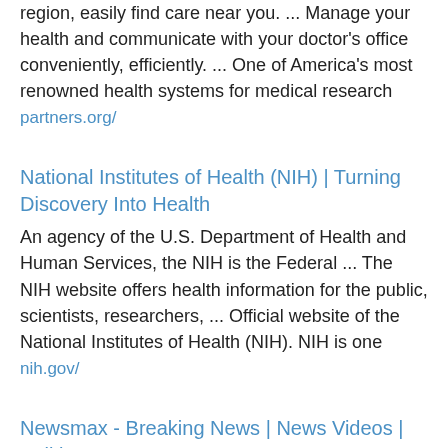region, easily find care near you. ... Manage your health and communicate with your doctor's office conveniently, efficiently. ... One of America's most renowned health systems for medical research
partners.org/
National Institutes of Health (NIH) | Turning Discovery Into Health
An agency of the U.S. Department of Health and Human Services, the NIH is the Federal ... The NIH website offers health information for the public, scientists, researchers, ... Official website of the National Institutes of Health (NIH). NIH is one
nih.gov/
Newsmax - Breaking News | News Videos | Politics,